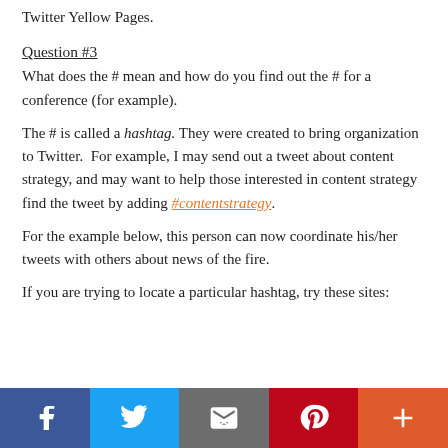Twitter Yellow Pages.
Question #3
What does the # mean and how do you find out the # for a conference (for example).
The # is called a hashtag. They were created to bring organization to Twitter.  For example, I may send out a tweet about content strategy, and may want to help those interested in content strategy find the tweet by adding #contentstrategy.
For the example below, this person can now coordinate his/her tweets with others about news of the fire.
If you are trying to locate a particular hashtag, try these sites:
[Figure (infographic): Social sharing bar with Facebook, Twitter, Email, Pinterest, and More buttons]